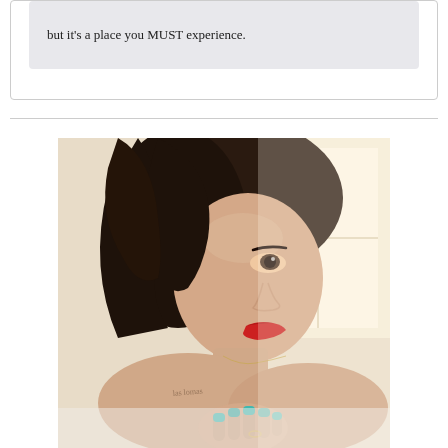but it's a place you MUST experience.
[Figure (photo): A young woman with dark brown hair, red lips, light skin, a shoulder tattoo, and teal nail polish. She is photographed from the shoulders up in a bright, naturally lit room.]